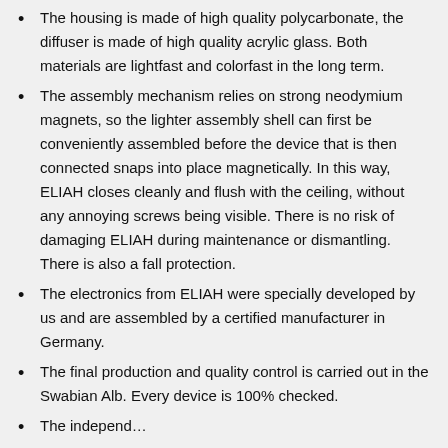The housing is made of high quality polycarbonate, the diffuser is made of high quality acrylic glass. Both materials are lightfast and colorfast in the long term.
The assembly mechanism relies on strong neodymium magnets, so the lighter assembly shell can first be conveniently assembled before the device that is then connected snaps into place magnetically. In this way, ELIAH closes cleanly and flush with the ceiling, without any annoying screws being visible. There is no risk of damaging ELIAH during maintenance or dismantling. There is also a fall protection.
The electronics from ELIAH were specially developed by us and are assembled by a certified manufacturer in Germany.
The final production and quality control is carried out in the Swabian Alb. Every device is 100% checked.
The independent...